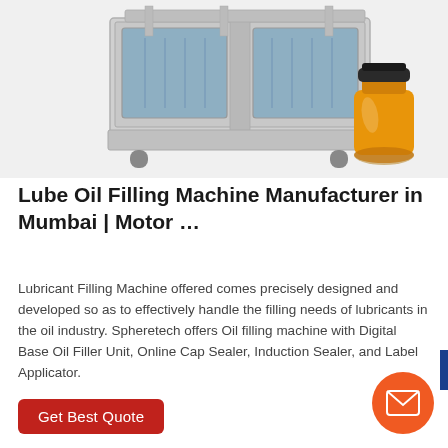[Figure (photo): Product photo showing a stainless steel Lube Oil Filling Machine (large industrial unit) alongside a small honey/oil glass jar with black cap on an orange/amber liquid.]
Lube Oil Filling Machine Manufacturer in Mumbai | Motor …
Lubricant Filling Machine offered comes precisely designed and developed so as to effectively handle the filling needs of lubricants in the oil industry. Spheretech offers Oil filling machine with Digital Base Oil Filler Unit, Online Cap Sealer, Induction Sealer, and Label Applicator.
Get Best Quote